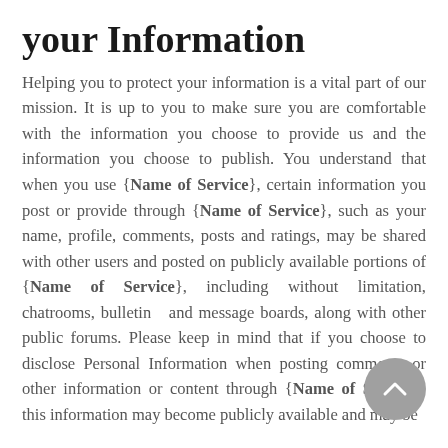your Information
Helping you to protect your information is a vital part of our mission. It is up to you to make sure you are comfortable with the information you choose to provide us and the information you choose to publish. You understand that when you use {Name of Service}, certain information you post or provide through {Name of Service}, such as your name, profile, comments, posts and ratings, may be shared with other users and posted on publicly available portions of {Name of Service}, including without limitation, chatrooms, bulletin   and message boards, along with other public forums. Please keep in mind that if you choose to disclose Personal Information when posting comments or other information or content through {Name of Service}, this information may become publicly available and may be